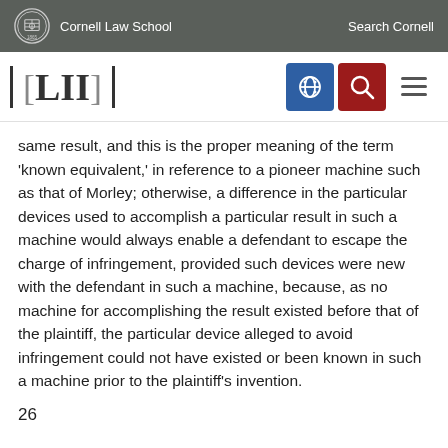Cornell Law School | Search Cornell
[Figure (logo): LII Legal Information Institute logo with navigation icons (globe, search, hamburger menu)]
same result, and this is the proper meaning of the term 'known equivalent,' in reference to a pioneer machine such as that of Morley; otherwise, a difference in the particular devices used to accomplish a particular result in such a machine would always enable a defendant to escape the charge of infringement, provided such devices were new with the defendant in such a machine, because, as no machine for accomplishing the result existed before that of the plaintiff, the particular device alleged to avoid infringement could not have existed or been known in such a machine prior to the plaintiff's invention.
26